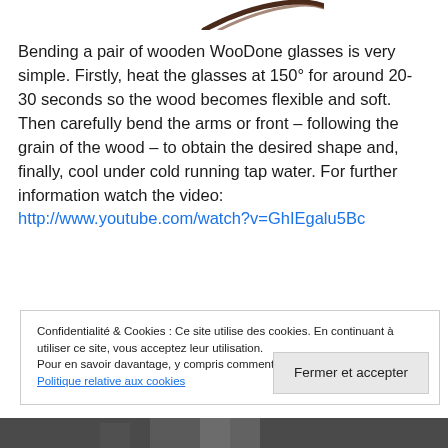[Figure (illustration): Partial view of a curled brown shape at the top of the page, likely glasses or wood curve]
Bending a pair of wooden WooDone glasses is very simple. Firstly, heat the glasses at 150° for around 20-30 seconds so the wood becomes flexible and soft. Then carefully bend the arms or front – following the grain of the wood – to obtain the desired shape and, finally, cool under cold running tap water. For further information watch the video: http://www.youtube.com/watch?v=GhIEgalu5Bc
Confidentialité & Cookies : Ce site utilise des cookies. En continuant à utiliser ce site, vous acceptez leur utilisation.
Pour en savoir davantage, y compris comment contrôler les cookies, voir :
Politique relative aux cookies
Fermer et accepter
[Figure (photo): Partial photo at the bottom of the page, dark background with hands visible]